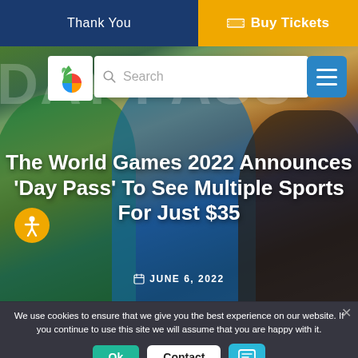Thank You
Buy Tickets
[Figure (screenshot): Hero image showing three young people smiling, with large 'DAY PASS' text in background. Overlays include a logo, search bar, hamburger menu, and article headline.]
The World Games 2022 Announces 'Day Pass' To See Multiple Sports For Just $35
JUNE 6, 2022
We use cookies to ensure that we give you the best experience on our website. If you continue to use this site we will assume that you are happy with it.
Ok
Contact